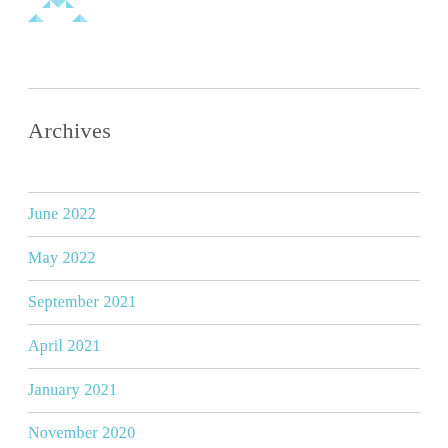[Figure (logo): Blue geometric logo mark made of triangular arrow shapes pointing inward]
Archives
June 2022
May 2022
September 2021
April 2021
January 2021
November 2020